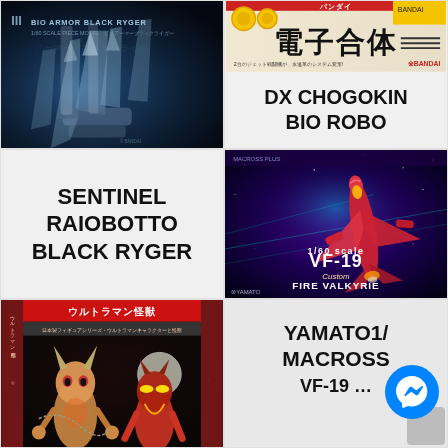[Figure (photo): Bio Armor Black Ryger product box/artwork showing metallic mechanical claws and dark blue alien/robot imagery with text 'BIO ARMOR BLACK RYGER']
[Figure (photo): DX Chogokin Bio Robo product box top portion with Japanese text '電子合体' and '2台のジェット戦闘機が、永遠革のシステム変形!' and BANDAI logo]
SENTINEL RAIOBOTTO BLACK RYGER
DX CHOGOKIN BIO ROBO
[Figure (photo): VF-19 Custom Fire Valkyrie 1/60 scale model box by Yamato, showing red mecha/aircraft against purple/teal starfield background]
[Figure (photo): Ultraman figures product box showing two Ultraman monster/alien character figures against dark starfield background with Japanese text]
YAMATO1/... MACROSS VF-19 ...